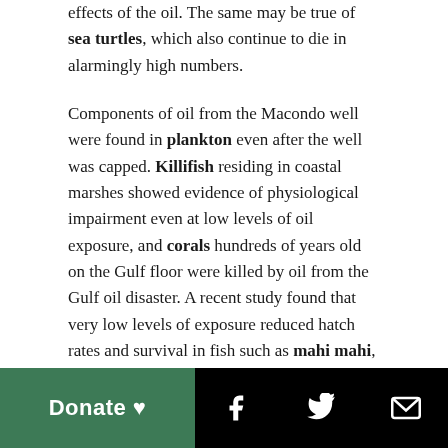effects of the oil. The same may be true of sea turtles, which also continue to die in alarmingly high numbers.
Components of oil from the Macondo well were found in plankton even after the well was capped. Killifish residing in coastal marshes showed evidence of physiological impairment even at low levels of oil exposure, and corals hundreds of years old on the Gulf floor were killed by oil from the Gulf oil disaster. A recent study found that very low levels of exposure reduced hatch rates and survival in fish such as mahi mahi, and resulted in impaired cardiac development and swimming performance in the fish that did survive.
Donate ♥  [Facebook] [Twitter] [Email]